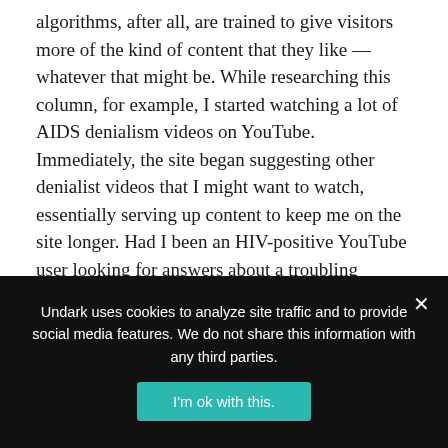algorithms, after all, are trained to give visitors more of the kind of content that they like — whatever that might be. While researching this column, for example, I started watching a lot of AIDS denialism videos on YouTube. Immediately, the site began suggesting other denialist videos that I might want to watch, essentially serving up content to keep me on the site longer. Had I been an HIV-positive YouTube user looking for answers about a troubling diagnosis, the effect, perhaps, would have been powerful. (Google did not respond to repeated requests for comment and chose not to answer a list of questions
Undark uses cookies to analyze site traffic and to provide social media features. We do not share this information with any third parties.
I'm ok with this.